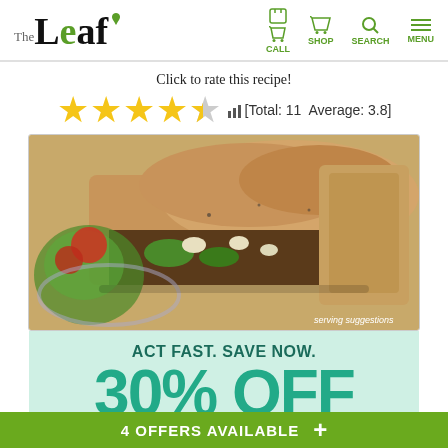The Leaf — CALL SHOP SEARCH MENU
Click to rate this recipe!
[Figure (infographic): Star rating widget showing 3.5 out of 5 stars (4 filled, 1 half), with bar chart icon and text [Total: 11 Average: 3.8]]
[Figure (photo): Close-up of a Philly cheesesteak sandwich with filling of meat, peppers, onions on a plate with salad. Text overlay: serving suggestions]
[Figure (infographic): Promotional ad on mint green background: ACT FAST. SAVE NOW. 30% OFF A La Carte Meals & Snacks exclusions apply† ORDER NOW button]
4 OFFERS AVAILABLE +